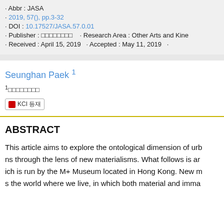· Abbr : JASA
· 2019, 57(), pp.3-32
· DOI : 10.17527/JASA.57.0.01
· Publisher : □□□□□□□□  · Research Area : Other Arts and Kine
· Received : April 15, 2019   · Accepted : May 11, 2019   ·
Seunghan Paek 1
1□□□□□□□□
KCI 등재
ABSTRACT
This article aims to explore the ontological dimension of urb ns through the lens of new materialisms. What follows is an ich is run by the M+ Museum located in Hong Kong. New m s the world where we live, in which both material and imma